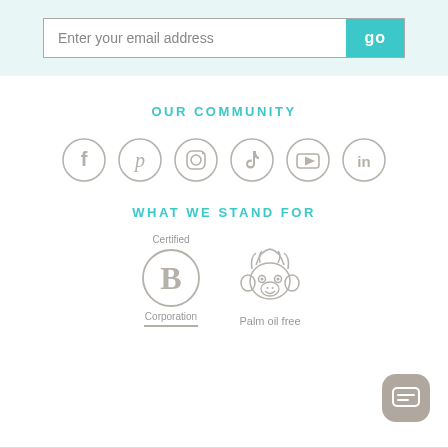Enter your email address
OUR COMMUNITY
[Figure (infographic): Six social media icons in circles: Facebook, Pinterest, Instagram, TikTok, YouTube, LinkedIn]
WHAT WE STAND FOR
[Figure (logo): Certified B Corporation logo and Palm oil free monkey illustration with labels]
[Figure (other): Chat button icon at bottom right]